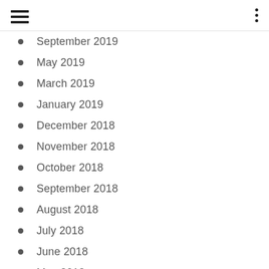September 2019
May 2019
March 2019
January 2019
December 2018
November 2018
October 2018
September 2018
August 2018
July 2018
June 2018
May 2018
April 2018